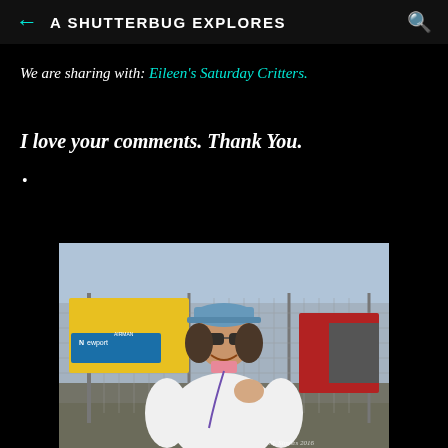A SHUTTERBUG EXPLORES
We are sharing with: Eileen's Saturday Critters.
I love your comments. Thank You.
•
[Figure (photo): Woman wearing blue visor cap and sunglasses, smiling, standing in front of a chain-link fence with yellow Airman and Newport equipment visible in background. Watermark: M. Simões 2016]